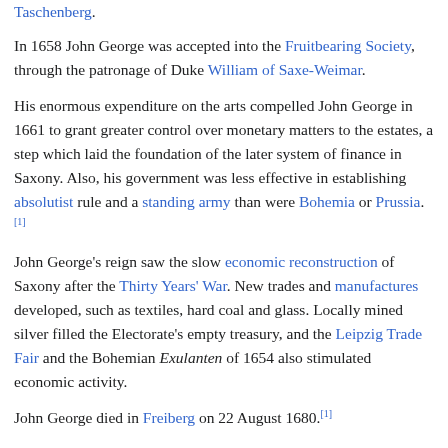Taschenberg.
In 1658 John George was accepted into the Fruitbearing Society, through the patronage of Duke William of Saxe-Weimar.
His enormous expenditure on the arts compelled John George in 1661 to grant greater control over monetary matters to the estates, a step which laid the foundation of the later system of finance in Saxony. Also, his government was less effective in establishing absolutist rule and a standing army than were Bohemia or Prussia.[1]
John George's reign saw the slow economic reconstruction of Saxony after the Thirty Years' War. New trades and manufactures developed, such as textiles, hard coal and glass. Locally mined silver filled the Electorate's empty treasury, and the Leipzig Trade Fair and the Bohemian Exulanten of 1654 also stimulated economic activity.
John George died in Freiberg on 22 August 1680.[1]
Family
In Dresden on 13 November 1638 John George married